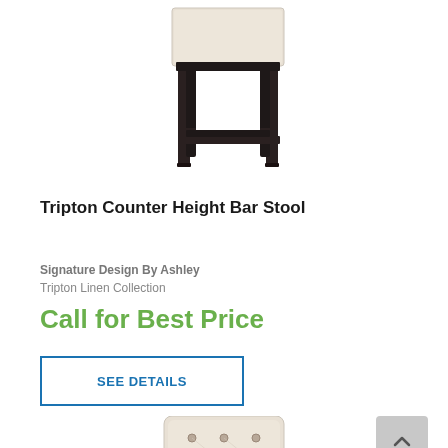[Figure (photo): A counter height bar stool with cream/beige upholstered seat and dark espresso wooden legs with cross-bar stretchers, photographed on white background, showing bottom portion.]
Tripton Counter Height Bar Stool
Signature Design By Ashley
Tripton Linen Collection
Call for Best Price
SEE DETAILS
[Figure (photo): Bottom portion of another chair or stool with tufted upholstery in cream/beige, showing the back with button tufting detail, partially cropped.]